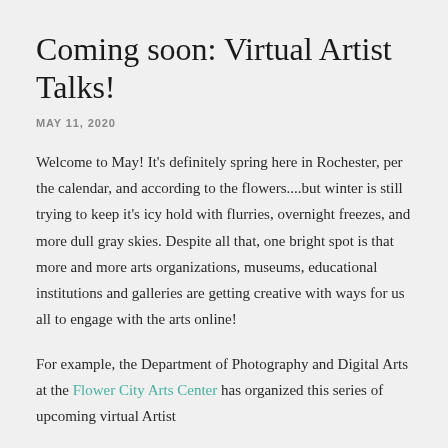Coming soon: Virtual Artist Talks!
MAY 11, 2020
Welcome to May! It's definitely spring here in Rochester, per the calendar, and according to the flowers....but winter is still trying to keep it's icy hold with flurries, overnight freezes, and more dull gray skies. Despite all that, one bright spot is that more and more arts organizations, museums, educational institutions and galleries are getting creative with ways for us all to engage with the arts online!
For example, the Department of Photography and Digital Arts at the Flower City Arts Center has organized this series of upcoming virtual Artist